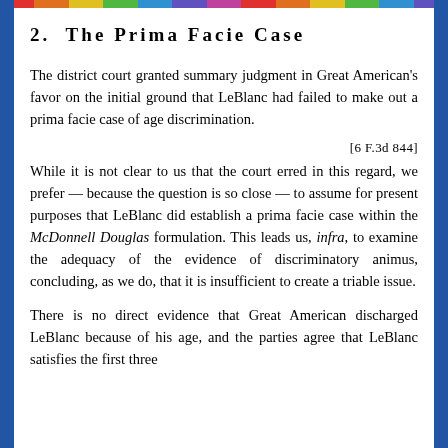2.  The Prima Facie Case
The district court granted summary judgment in Great American's favor on the initial ground that LeBlanc had failed to make out a prima facie case of age discrimination.
[6 F.3d 844]
While it is not clear to us that the court erred in this regard, we prefer — because the question is so close — to assume for present purposes that LeBlanc did establish a prima facie case within the McDonnell Douglas formulation. This leads us, infra, to examine the adequacy of the evidence of discriminatory animus, concluding, as we do, that it is insufficient to create a triable issue.
There is no direct evidence that Great American discharged LeBlanc because of his age, and the parties agree that LeBlanc satisfies the first three